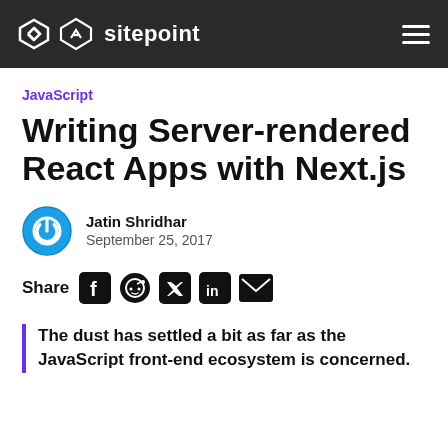sitepoint
JavaScript
Writing Server-rendered React Apps with Next.js
Jatin Shridhar
September 25, 2017
Share
The dust has settled a bit as far as the JavaScript front-end ecosystem is concerned.